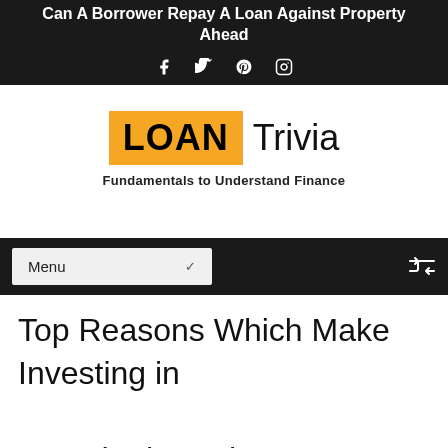Can A Borrower Repay A Loan Against Property Ahead
[Figure (other): Social media icons: Facebook, Twitter, Pinterest, Instagram]
[Figure (logo): Loan Trivia logo with orange background for LOAN text and tagline: Fundamentals to Understand Finance]
[Figure (other): Navigation bar with Menu dropdown and shuffle icon]
Top Reasons Which Make Investing in Guwahati Worth It